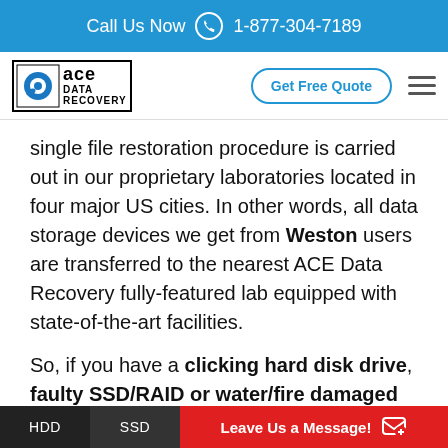Call Us Now 1-877-304-7189
[Figure (logo): ACE Data Recovery logo with blue disc icon and bordered text block]
single file restoration procedure is carried out in our proprietary laboratories located in four major US cities. In other words, all data storage devices we get from Weston users are transferred to the nearest ACE Data Recovery fully-featured lab equipped with state-of-the-art facilities.
So, if you have a clicking hard disk drive, faulty SSD/RAID or water/fire damaged portable gadget, don't worry too much about your priceless data. Just
HDD   SSD   Leave Us a Message!